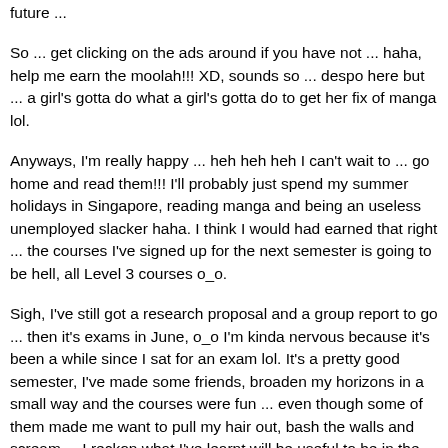future ...
So ... get clicking on the ads around if you have not ... haha, help me earn the moolah!!! XD, sounds so ... despo here but ... a girl's gotta do what a girl's gotta do to get her fix of manga lol.
Anyways, I'm really happy ... heh heh heh I can't wait to ... go home and read them!!! I'll probably just spend my summer holidays in Singapore, reading manga and being an useless unemployed slacker haha. I think I would had earned that right ... the courses I've signed up for the next semester is going to be hell, all Level 3 courses o_o.
Sigh, I've still got a research proposal and a group report to go ... then it's exams in June, o_o I'm kinda nervous because it's been a while since I sat for an exam lol. It's a pretty good semester, I've made some friends, broaden my horizons in a small way and the courses were fun ... even though some of them made me want to pull my hair out, bash the walls and scream ... I reckon what I've learnt will be useful to be in the future. Or else. Haha.